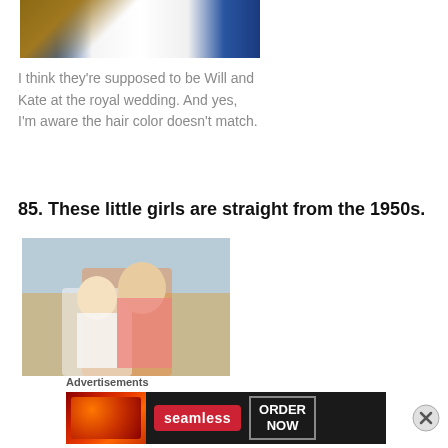[Figure (photo): Bottom portion of two costumed figures on a wooden floor, one in white dress, one in blue royal costume with gold trim]
I think they're supposed to be Will and Kate at the royal wedding. And yes, I'm aware the hair color doesn't match.
85. These little girls are straight from the 1950s.
[Figure (photo): Two young girls in 1950s costumes with glasses, white shirts, black ties, and poodle skirts, posing outdoors]
Advertisements
[Figure (screenshot): Seamless pizza ordering advertisement banner with pizza image, Seamless logo, and ORDER NOW button]